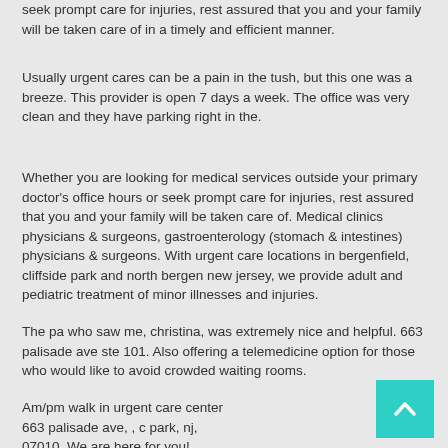seek prompt care for injuries, rest assured that you and your family will be taken care of in a timely and efficient manner.
Usually urgent cares can be a pain in the tush, but this one was a breeze. This provider is open 7 days a week. The office was very clean and they have parking right in the.
Whether you are looking for medical services outside your primary doctor's office hours or seek prompt care for injuries, rest assured that you and your family will be taken care of. Medical clinics physicians & surgeons, gastroenterology (stomach & intestines) physicians & surgeons. With urgent care locations in bergenfield, cliffside park and north bergen new jersey, we provide adult and pediatric treatment of minor illnesses and injuries.
The pa who saw me, christina, was extremely nice and helpful. 663 palisade ave ste 101. Also offering a telemedicine option for those who would like to avoid crowded waiting rooms.
Am/pm walk in urgent care center 663 palisade ave, , c park, nj, 07010. We are here for you!